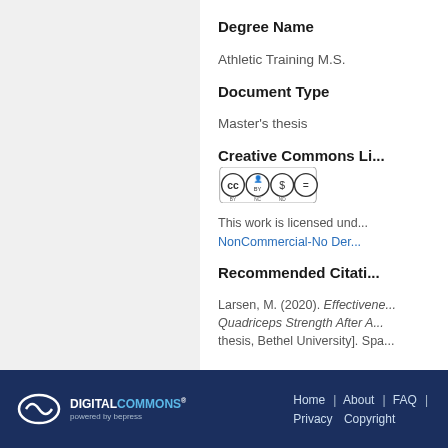Degree Name
Athletic Training M.S.
Document Type
Master's thesis
Creative Commons Li...
[Figure (logo): Creative Commons BY NC ND license badge]
This work is licensed under a Creative Commons Attribution-NonCommercial-No Derivatives license.
Recommended Citation
Larsen, M. (2020). Effectiveness... Quadriceps Strength After A... thesis, Bethel University]. Spa...
DIGITAL COMMONS powered by bepress | Home | About | FAQ | Privacy | Copyright